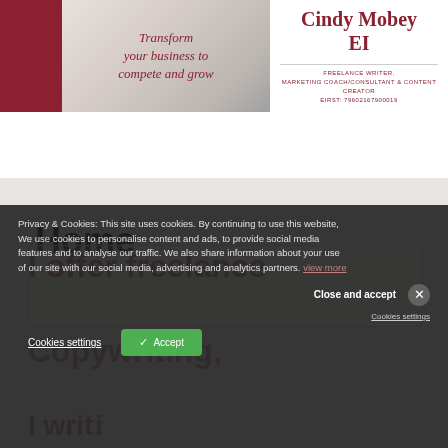[Figure (screenshot): Website header with dark red block on left, photo background with italic text 'Transform your business to compete and grow', and right side showing site title 'Cindy Mobey EI' with subtitle 'FREELANCE WRITER, MARKETING COACH/CONSULTANT & CONTENT CREATOR']
Cindy Mobey EI
FREELANCE WRITER, MARKETING COACH/CONSULTANT & CONTENT CREATOR
Home
I offer freelance
Copywriting,
Privacy & Cookies: This site uses cookies. By continuing to use this website, We use cookies to personalise content and ads, to provide social media features and to analyse our traffic. We also share information about your use of our site with our social media, advertising and analytics partners. Close and accept
Cookies settings
Accept
Cookies settings
To find out more, including how to control cookies, see here: Cookie Policy